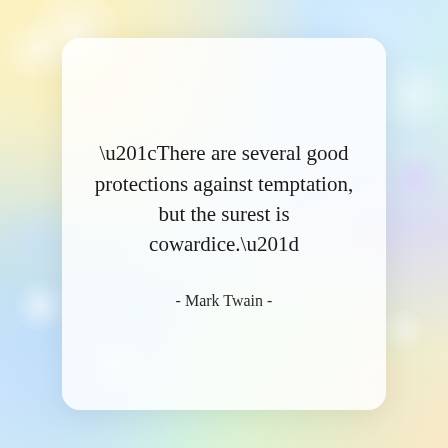[Figure (illustration): Colorful bokeh background with soft blurred circles in pastel yellow, blue, green, and white tones]
“There are several good protections against temptation, but the surest is cowardice.”
- Mark Twain -